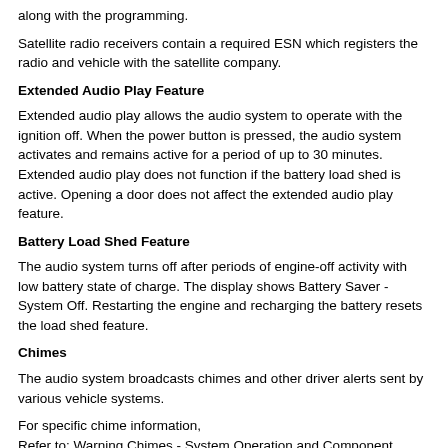along with the programming.
Satellite radio receivers contain a required ESN which registers the radio and vehicle with the satellite company.
Extended Audio Play Feature
Extended audio play allows the audio system to operate with the ignition off. When the power button is pressed, the audio system activates and remains active for a period of up to 30 minutes. Extended audio play does not function if the battery load shed is active. Opening a door does not affect the extended audio play feature.
Battery Load Shed Feature
The audio system turns off after periods of engine-off activity with low battery state of charge. The display shows Battery Saver - System Off. Restarting the engine and recharging the battery resets the load shed feature.
Chimes
The audio system broadcasts chimes and other driver alerts sent by various vehicle systems.
For specific chime information,
Refer to: Warning Chimes - System Operation and Component Description